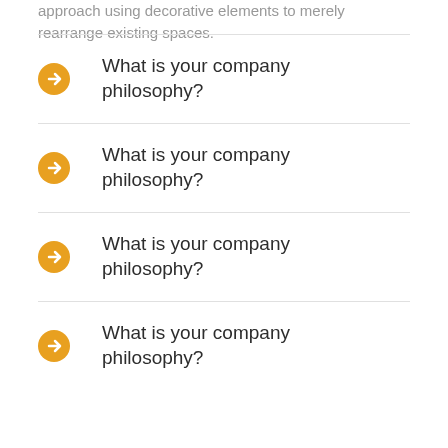approach using decorative elements to merely rearrange existing spaces.
What is your company philosophy?
What is your company philosophy?
What is your company philosophy?
What is your company philosophy?